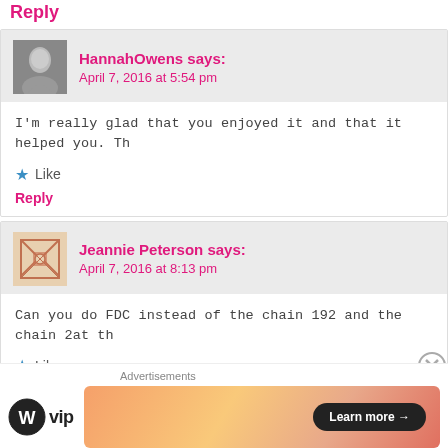Reply
HannahOwens says:
April 7, 2016 at 5:54 pm
I'm really glad that you enjoyed it and that it helped you. Th
Like
Reply
Jeannie Peterson says:
April 7, 2016 at 8:13 pm
Can you do FDC instead of the chain 192 and the chain 2at th
Like
Reply
Advertisements
[Figure (logo): WordPress VIP logo with circular W icon and 'vip' text]
[Figure (infographic): Orange/pink gradient advertisement banner with 'Learn more →' button]